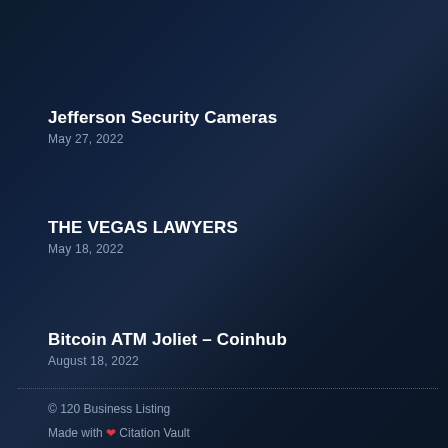Jefferson Security Cameras
May 27, 2022
THE VEGAS LAWYERS
May 18, 2022
Bitcoin ATM Joliet – Coinhub
August 18, 2022
© 120 Business Listing
Made with ❤ Citation Vault